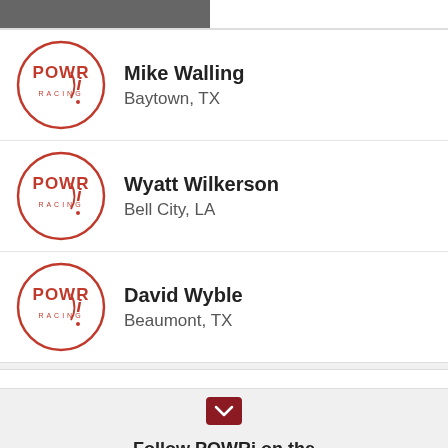[Figure (photo): Partial photo of a person at the top of the page, cropped]
Mike Walling
Baytown, TX
Wyatt Wilkerson
Bell City, LA
David Wyble
Beaumont, TX
Follow POWRi on the
MyRacePass App